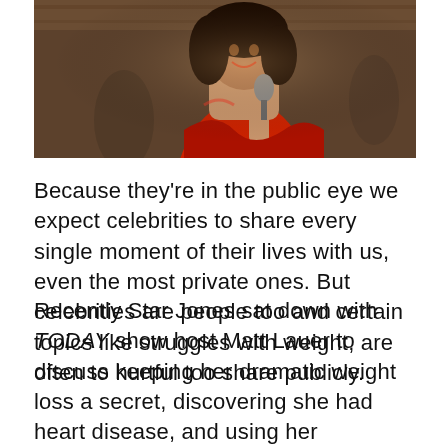[Figure (photo): Woman in red dress holding a microphone, photographed at an event, smiling, with curly dark hair.]
Because they’re in the public eye we expect celebrities to share every single moment of their lives with us, even the most private ones. But celebrities are people too and certain topics like struggles with weight, are often to hurtful too share publicly.
Recently Star Jones sat down with TODAY show host Matt Lauer to discuss keeping her dramatic weight loss a secret, discovering she had heart disease, and using her experiences to save the lives of other women.